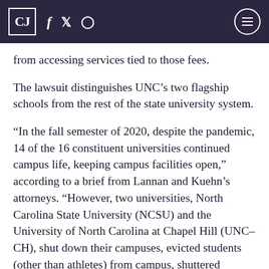CJ [logo] f [facebook] [twitter] [instagram] [hamburger menu]
from accessing services tied to those fees.
The lawsuit distinguishes UNC’s two flagship schools from the rest of the state university system.
“In the fall semester of 2020, despite the pandemic, 14 of the 16 constituent universities continued campus life, keeping campus facilities open,” according to a brief from Lannan and Kuehn’s attorneys. “However, two universities, North Carolina State University (NCSU) and the University of North Carolina at Chapel Hill (UNC–CH), shut down their campuses, evicted students (other than athletes) from campus, shuttered student unions and recreation facilities, canceled all arts performances, and banned access to sporting events. NCSU and UNC–CH had charged student fees for many